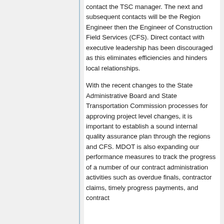contact the TSC manager. The next and subsequent contacts will be the Region Engineer then the Engineer of Construction Field Services (CFS). Direct contact with executive leadership has been discouraged as this eliminates efficiencies and hinders local relationships.
With the recent changes to the State Administrative Board and State Transportation Commission processes for approving project level changes, it is important to establish a sound internal quality assurance plan through the regions and CFS. MDOT is also expanding our performance measures to track the progress of a number of our contract administration activities such as overdue finals, contractor claims, timely progress payments, and contract